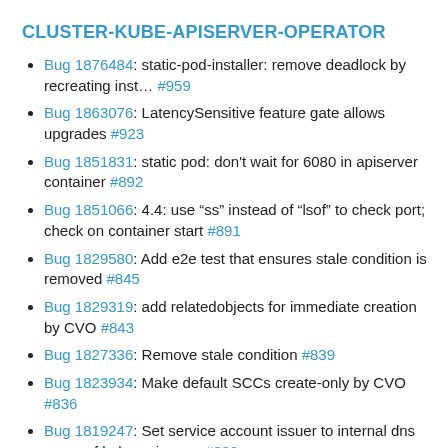CLUSTER-KUBE-APISERVER-OPERATOR
Bug 1876484: static-pod-installer: remove deadlock by recreating inst… #959
Bug 1863076: LatencySensitive feature gate allows upgrades #923
Bug 1851831: static pod: don't wait for 6080 in apiserver container #892
Bug 1851066: 4.4: use "ss" instead of "lsof" to check port; check on container start #891
Bug 1829580: Add e2e test that ensures stale condition is removed #845
Bug 1829319: add relatedobjects for immediate creation by CVO #843
Bug 1827336: Remove stale condition #839
Bug 1823934: Make default SCCs create-only by CVO #836
Bug 1819247: Set service account issuer to internal dns name of kube apiserver #829